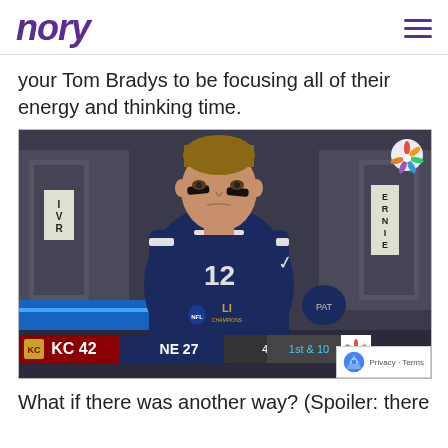nory
your Tom Bradys to be focusing all of their energy and thinking time.
[Figure (photo): Tom Brady in New England Patriots Super Bowl LI jersey, looking intense, with scoreboard overlay showing KC 42 NE 27 4th 2:09 :25 1st & 10]
What if there was another way? (Spoiler: there